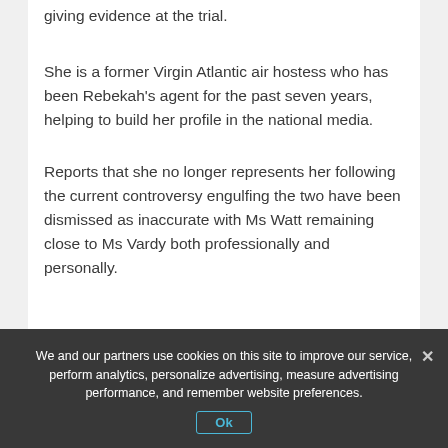giving evidence at the trial.
She is a former Virgin Atlantic air hostess who has been Rebekah’s agent for the past seven years, helping to build her profile in the national media.
Reports that she no longer represents her following the current controversy engulfing the two have been dismissed as inaccurate with Ms Watt remaining close to Ms Vardy both professionally and personally.
We and our partners use cookies on this site to improve our service, perform analytics, personalize advertising, measure advertising performance, and remember website preferences.